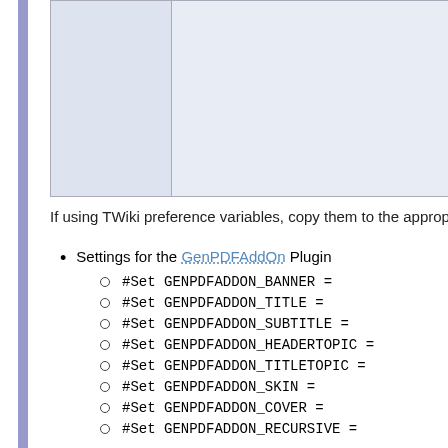|  |  |
| --- | --- |
|  |  |
If using TWiki preference variables, copy them to the approp
Settings for the GenPDFAddOn Plugin
#Set GENPDFADDON_BANNER =
#Set GENPDFADDON_TITLE =
#Set GENPDFADDON_SUBTITLE =
#Set GENPDFADDON_HEADERTOPIC =
#Set GENPDFADDON_TITLETOPIC =
#Set GENPDFADDON_SKIN =
#Set GENPDFADDON_COVER =
#Set GENPDFADDON_RECURSIVE =